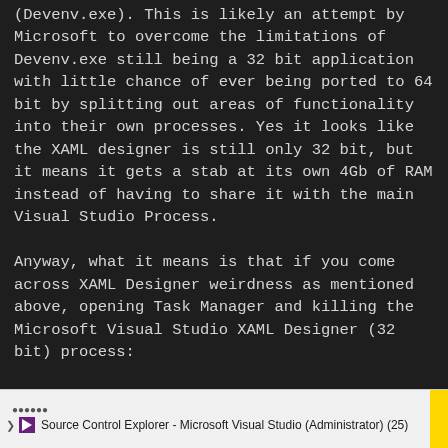(Devenv.exe). This is likely an attempt by Microsoft to overcome the limitations of Devenv.exe still being a 32 bit application with little chance of ever being ported to 64 bit by splitting out areas of functionality into their own processes. Yes it looks like the XAML designer is still only 32 bit, but it means it gets a stab at its own 4Gb of RAM instead of having to share it with the main Visual Studio Process.

Anyway, what it means is that if you come across XAML Designer weirdness as mentioned above, opening Task Manager and killing the Microsoft Visual Studio XAML Designer (32 bit) process:
[Figure (screenshot): Screenshot of Windows Task Manager showing a taskbar/window entry: 'Source Control Explorer - Microsoft Visual Studio (Administrator) (25)' with Visual Studio icon and expand arrow. A yellow highlight square appears on the right edge.]